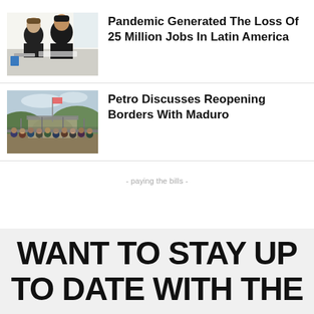[Figure (photo): Two people working at a table, looking at something, in what appears to be a lab or workshop setting.]
Pandemic Generated The Loss Of 25 Million Jobs In Latin America
[Figure (photo): Large crowd of people gathered near a border crossing or entry point, with hills and structures visible in the background.]
Petro Discusses Reopening Borders With Maduro
- paying the bills -
WANT TO STAY UP TO DATE WITH THE